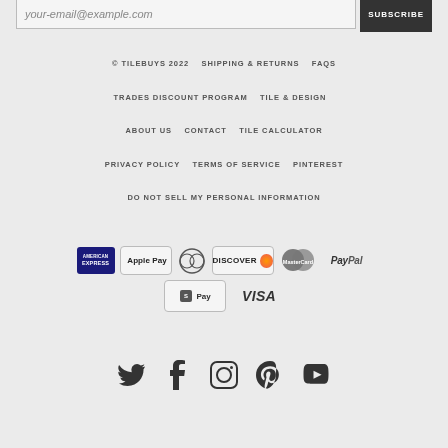your-email@example.com
SUBSCRIBE
© TILEBUYS 2022   SHIPPING & RETURNS   FAQS
TRADES DISCOUNT PROGRAM   TILE & DESIGN
ABOUT US   CONTACT   TILE CALCULATOR
PRIVACY POLICY   TERMS OF SERVICE   PINTEREST
DO NOT SELL MY PERSONAL INFORMATION
[Figure (logo): Payment method icons: American Express, Apple Pay, Diners Club, Discover, MasterCard, PayPal, Shopify Pay, Visa]
[Figure (infographic): Social media icons: Twitter, Facebook, Instagram, Pinterest, YouTube]